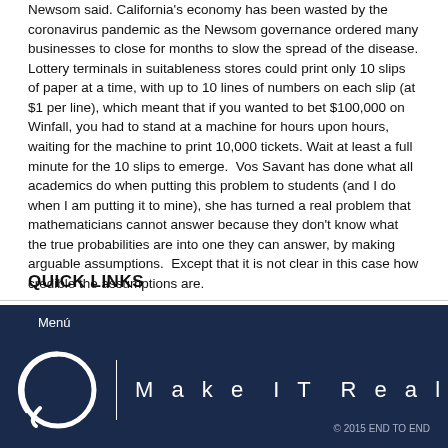Newsom said. California's economy has been wasted by the coronavirus pandemic as the Newsom governance ordered many businesses to close for months to slow the spread of the disease. Lottery terminals in suitableness stores could print only 10 slips of paper at a time, with up to 10 lines of numbers on each slip (at $1 per line), which meant that if you wanted to bet $100,000 on Winfall, you had to stand at a machine for hours upon hours, waiting for the machine to print 10,000 tickets. Wait at least a full minute for the 10 slips to emerge. Vos Savant has done what all academics do when putting this problem to students (and I do when I am putting it to mine), she has turned a real problem that mathematicians cannot answer because they don't know what the true probabilities are into one they can answer, by making arguable assumptions. Except that it is not clear in this case how credible the assumptions are.
QUICK LINKS
[Figure (logo): Make IT Real logo with circular icon and tagline on dark navy background, with Menú label and © 2015 END TO END copyright]